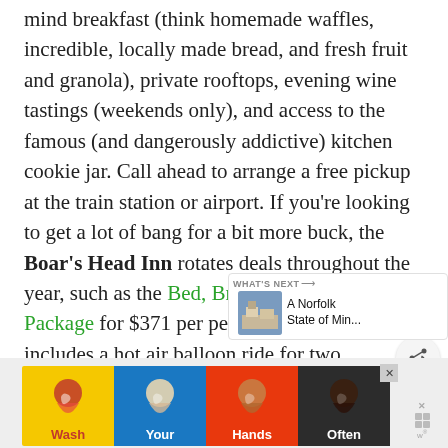mind breakfast (think homemade waffles, incredible, locally made bread, and fresh fruit and granola), private rooftops, evening wine tastings (weekends only), and access to the famous (and dangerously addictive) kitchen cookie jar. Call ahead to arrange a free pickup at the train station or airport. If you're looking to get a lot of bang for a bit more buck, the Boar's Head Inn rotates deals throughout the year, such as the Bed, Breakfast, and Balloon Package for $371 per person per night and includes a hot air balloon ride for two, breakfast, deluxe overnight accommodations, and resort fees and taxes. (Regular rates start at $190/night.)
[Figure (screenshot): Advertisement banner at bottom of page: colorful 'Wash Your Hands Often' public health ad with illustrated hands in various skin tones on yellow, blue, red, and dark backgrounds.]